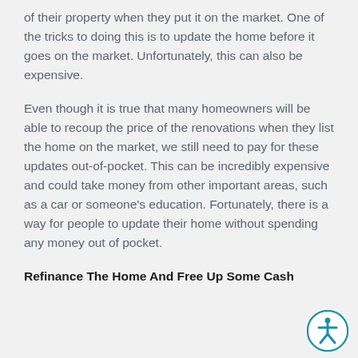of their property when they put it on the market. One of the tricks to doing this is to update the home before it goes on the market. Unfortunately, this can also be expensive.
Even though it is true that many homeowners will be able to recoup the price of the renovations when they list the home on the market, we still need to pay for these updates out-of-pocket. This can be incredibly expensive and could take money from other important areas, such as a car or someone's education. Fortunately, there is a way for people to update their home without spending any money out of pocket.
Refinance The Home And Free Up Some Cash